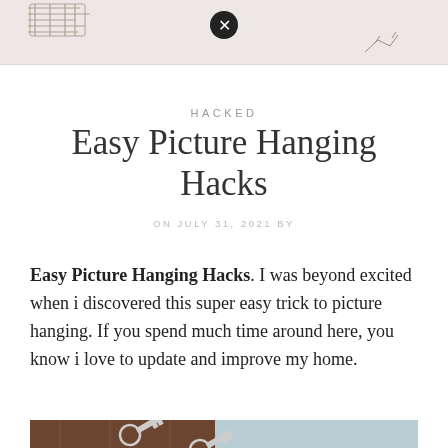[Figure (photo): Top partial image of a decorative/craft scene with sepia tones, partially cropped. Contains decorative line drawings on left side and close/dismiss button overlay.]
HACKED
Easy Picture Hanging Hacks
ON JULY 31, 2021 BY
Easy Picture Hanging Hacks. I was beyond excited when i discovered this super easy trick to picture hanging. If you spend much time around here, you know i love to update and improve my home.
[Figure (photo): Close-up photograph of two small picture-hanging keys on a dark wooden surface next to a light blue sheet of paper.]